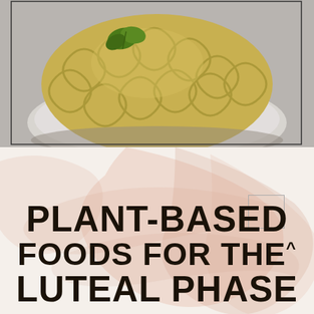[Figure (photo): Close-up photo of rotini/fusilli pasta in a bowl with green herb garnish on a gray plate, viewed from above on a gray surface]
PLANT-BASED FOODS FOR THE LUTEAL PHASE